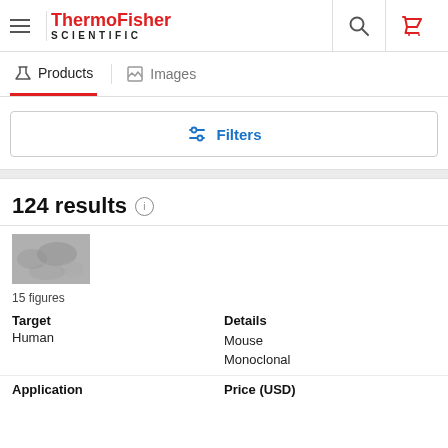ThermoFisher SCIENTIFIC
Products   Images
Filters
124 results
15 figures
| Target | Details |
| --- | --- |
| Human | Mouse
Monoclonal |
Application   Price (USD)